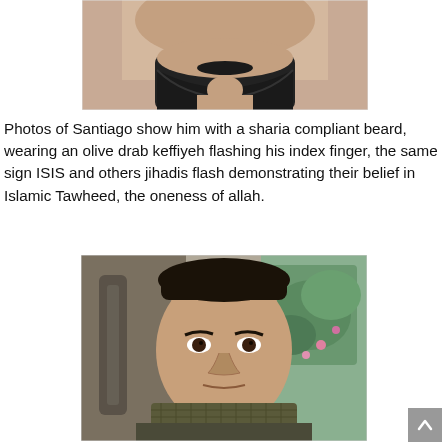[Figure (photo): Close-up photo of a man's lower face showing a beard, cropped at the top of the image]
Photos of Santiago show him with a sharia compliant beard, wearing an olive drab keffiyeh flashing his index finger, the same sign ISIS and others jihadis flash demonstrating their belief in Islamic Tawheed, the oneness of allah.
[Figure (photo): Photo of a young man sitting in a car, wearing an olive drab keffiyeh/scarf, looking directly at the camera. A car seat belt and green foliage are visible in the background.]